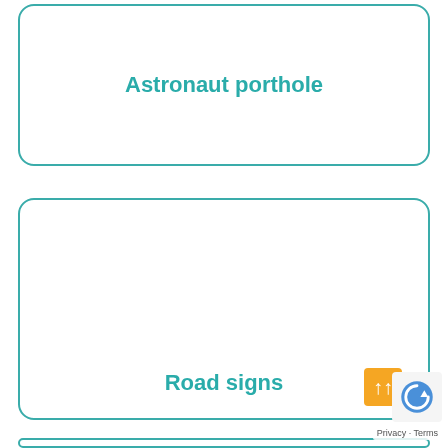Astronaut porthole
[Figure (other): Empty card with label 'Road signs' at the bottom]
Road signs